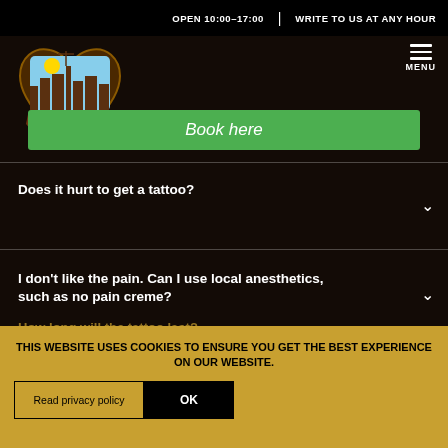OPEN 10:00-17:00 | WRITE TO US AT ANY HOUR
[Figure (logo): Nancy & Daughters tattoo studio logo - heart shape with cityscape illustration]
Book here
Does it hurt to get a tattoo?
I don’t like the pain. Can I use local anesthetics, such as no pain creme?
What ink do you use?
How long will the tattoo last?
THIS WEBSITE USES COOKIES TO ENSURE YOU GET THE BEST EXPERIENCE ON OUR WEBSITE.
Read privacy policy
OK